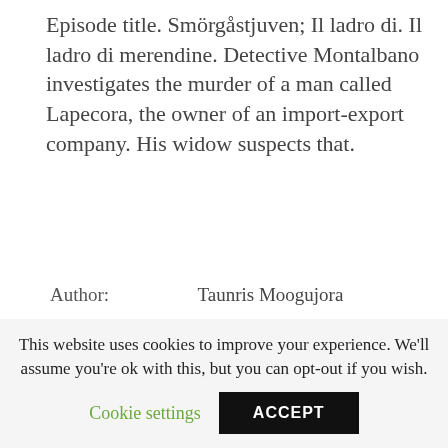Episode title. Smörgåstjuven; Il ladro di. Il ladro di merendine. Detective Montalbano investigates the murder of a man called Lapecora, the owner of an import-export company. His widow suspects that.
| Author: | Taunris Moogujora |
| Country: | Jordan |
| Language: | English (Spanish) |
| Genre: | Medical |
This website uses cookies to improve your experience. We'll assume you're ok with this, but you can opt-out if you wish.
Cookie settings   ACCEPT